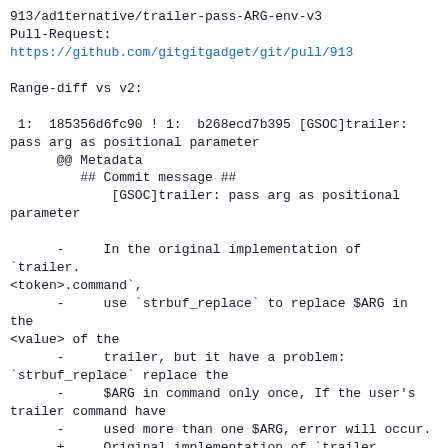913/ad1ternative/trailer-pass-ARG-env-v3
Pull-Request:
https://github.com/gitgitgadget/git/pull/913

Range-diff vs v2:

 1:  185356d6fc90 ! 1:  b268ecd7b395 [GSOC]trailer: pass arg as positional parameter
      @@ Metadata
         ## Commit message ##
             [GSOC]trailer: pass arg as positional parameter

      -     In the original implementation of `trailer.<token>.command`,
      -     use `strbuf_replace` to replace $ARG in the <value> of the
      -     trailer, but it have a problem: `strbuf_replace` replace the
      -     $ARG in command only once, If the user's trailer command have
      -     used more than one $ARG, error will occur.
      +     Original implementation of `trailer.<token>.command` use
      +     `strbuf_replace` to replace $ARG in command with the <value>
      +     of the trailer, but it have a problem: `strbuf_replace`
      +     replace the $ARG only once, If the user's trailer command